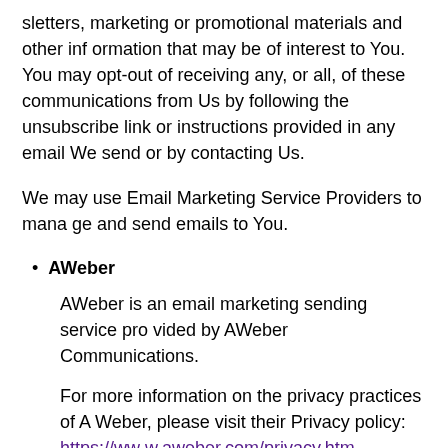sletters, marketing or promotional materials and other information that may be of interest to You. You may opt-out of receiving any, or all, of these communications from Us by following the unsubscribe link or instructions provided in any email We send or by contacting Us.
We may use Email Marketing Service Providers to manage and send emails to You.
AWeber
AWeber is an email marketing sending service provided by AWeber Communications.
For more information on the privacy practices of AWeber, please visit their Privacy policy: https://www.aweber.com/privacy.htm